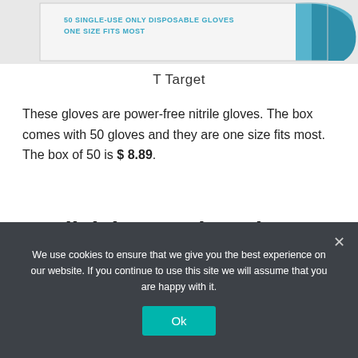[Figure (photo): Partial product image of a box of disposable gloves. Text on box reads '50 SINGLE-USE ONLY DISPOSABLE GLOVES ONE SIZE FITS MOST'. Blue glove visible on right side.]
T Target
These gloves are power-free nitrile gloves. The box comes with 50 gloves and they are one size fits most. The box of 50 is $ 8.89.
Click here to buy these disposable gloves from Target!
We use cookies to ensure that we give you the best experience on our website. If you continue to use this site we will assume that you are happy with it.